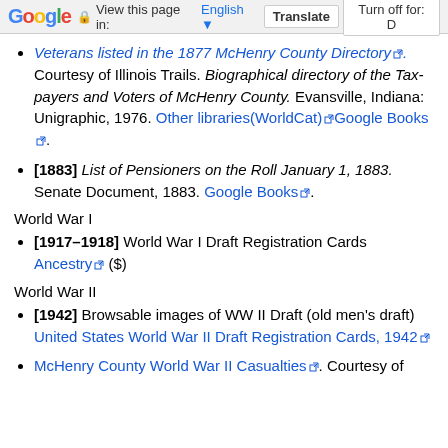Google | View this page in: English [▼] | Translate | Turn off for: D
[1877] Veterans listed in the 1877 McHenry County Directory. Courtesy of Illinois Trails. Biographical directory of the Tax-payers and Voters of McHenry County. Evansville, Indiana: Unigraphic, 1976. Other libraries(WorldCat) Google Books.
[1883] List of Pensioners on the Roll January 1, 1883. Senate Document, 1883. Google Books.
World War I
[1917–1918] World War I Draft Registration Cards Ancestry ($)
World War II
[1942] Browsable images of WW II Draft (old men's draft) United States World War II Draft Registration Cards, 1942
McHenry County World War II Casualties. Courtesy of